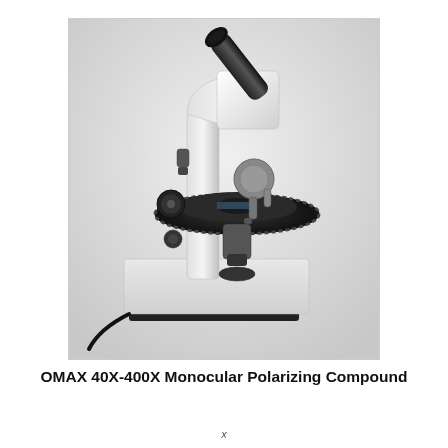[Figure (photo): Photograph of an OMAX 40X-400X Monocular Polarizing Compound microscope. The microscope is white with a black monocular eyepiece tube angled upward to the right. It has a large circular rotating polarizing stage (black), coarse and fine focus knobs on the left side, a revolving nosepiece with objectives, and a black base with a power cord. The background is light grey gradient.]
OMAX 40X-400X Monocular Polarizing Compound